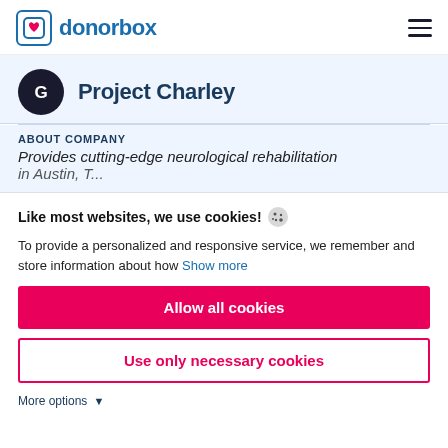[Figure (logo): Donorbox logo with heart icon in blue square bracket and blue text 'donorbox']
[Figure (logo): Project Charley charity logo - dark circular icon with letter G]
Project Charley
ABOUT COMPANY
Provides cutting-edge neurological rehabilitation in Austin, T...
Like most websites, we use cookies!
To provide a personalized and responsive service, we remember and store information about how  Show more
Allow all cookies
Use only necessary cookies
More options